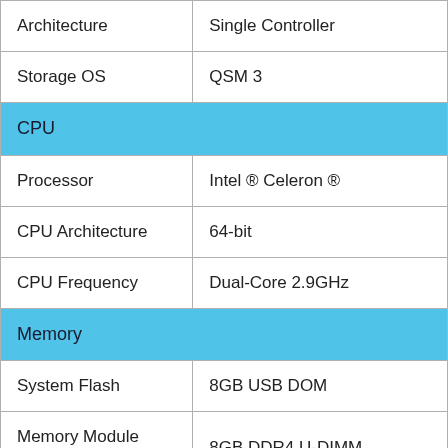| Property | Value |
| --- | --- |
| Architecture | Single Controller |
| Storage OS | QSM 3 |
| CPU |  |
| Processor | Intel ® Celeron ® |
| CPU Architecture | 64-bit |
| CPU Frequency | Dual-Core 2.9GHz |
| Memory |  |
| System Flash | 8GB USB DOM |
| Memory Module Pre-installed | 8GB DDR4 U-DIMM |